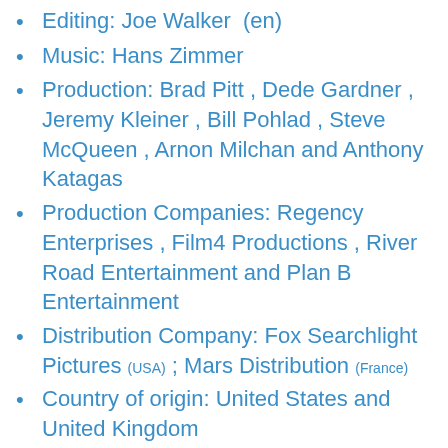Editing: Joe Walker (en)
Music: Hans Zimmer
Production: Brad Pitt , Dede Gardner , Jeremy Kleiner , Bill Pohlad , Steve McQueen , Arnon Milchan and Anthony Katagas
Production Companies: Regency Enterprises , Film4 Productions , River Road Entertainment and Plan B Entertainment
Distribution Company: Fox Searchlight Pictures (USA) ; Mars Distribution (France)
Country of origin: United States and United Kingdom
Budget: $ 20,000,000 1
Original language: English
Format: Color – 2.35: 1 – Dolby Digital – 35 mm